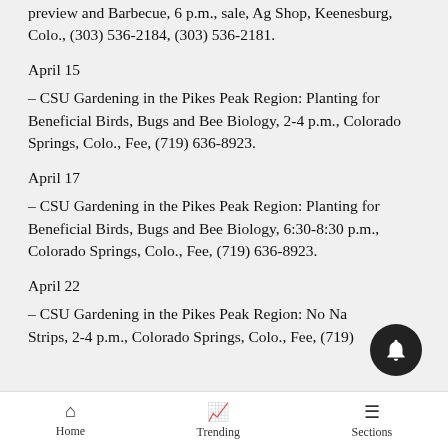preview and Barbecue, 6 p.m., sale, Ag Shop, Keenesburg, Colo., (303) 536-2184, (303) 536-2181.
April 15
– CSU Gardening in the Pikes Peak Region: Planting for Beneficial Birds, Bugs and Bee Biology, 2-4 p.m., Colorado Springs, Colo., Fee, (719) 636-8923.
April 17
– CSU Gardening in the Pikes Peak Region: Planting for Beneficial Birds, Bugs and Bee Biology, 6:30-8:30 p.m., Colorado Springs, Colo., Fee, (719) 636-8923.
April 22
– CSU Gardening in the Pikes Peak Region: No Narrow Strips, 2-4 p.m., Colorado Springs, Colo., Fee, (719)
Home  Trending  Sections